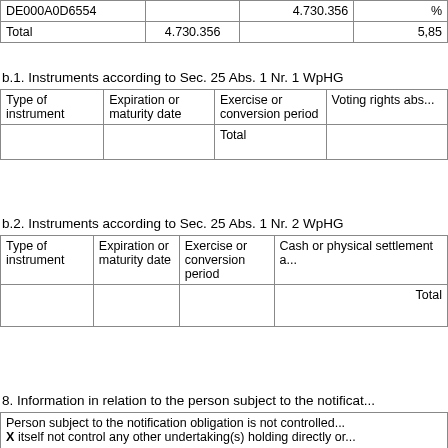| DE000A0D6554 |  | 4.730.356 | % |
| --- | --- | --- | --- |
| Total | 4.730.356 |  | 5,85 |
b.1. Instruments according to Sec. 25 Abs. 1 Nr. 1 WpHG
| Type of instrument | Expiration or maturity date | Exercise or conversion period | Voting rights abs... |
| --- | --- | --- | --- |
|  |  | Total |  |
b.2. Instruments according to Sec. 25 Abs. 1 Nr. 2 WpHG
| Type of instrument | Expiration or maturity date | Exercise or conversion period | Cash or physical settlement a... |
| --- | --- | --- | --- |
|  |  |  | Total |
8. Information in relation to the person subject to the notificat...
Person subject to the notification obligation is not controlled... X itself not control any other undertaking(s) holding directly or...